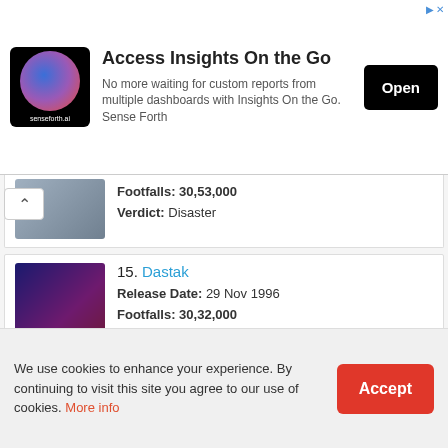[Figure (screenshot): Advertisement banner for senseforth.ai - Access Insights On the Go]
Footfalls: 30,53,000
Verdict: Disaster
15. Dastak
Release Date: 29 Nov 1996
Footfalls: 30,32,000
Verdict: Flop
16. Jhoot Bole Kauwa Kaate
Release Date: 4 Dec 1998
Footfalls: 29,23,000
Verdict: Flop
We use cookies to enhance your experience. By continuing to visit this site you agree to our use of cookies. More info